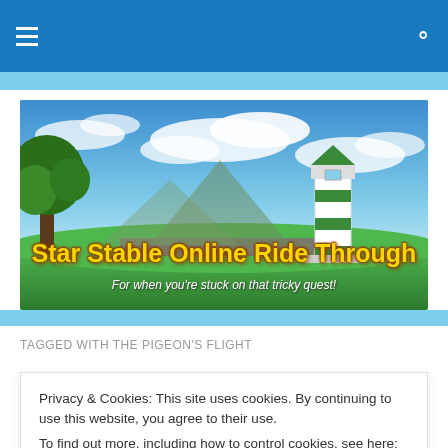Navigation bar with hamburger menu and search icon
[Figure (illustration): Star Stable Online Ride Through banner with lighthouse, tree, green hills, and blue sky. Text: 'Star Stable Online Ride Through' and 'For when you're stuck on that tricky quest!']
TAGGED WITH THE PIGEON'S FLIGHT
Privacy & Cookies: This site uses cookies. By continuing to use this website, you agree to their use.
To find out more, including how to control cookies, see here: Cookie Policy
Close and accept
now on 1